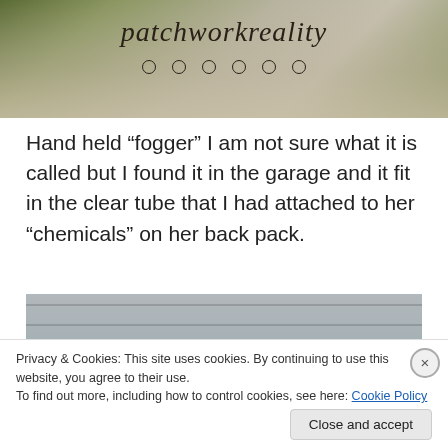[Figure (photo): Blog header photo showing a person in tan jacket with 'patchworkreality' logo text and decorative circle dots overlay]
Hand held “fogger”  I am not sure what it is called but I found it in the garage and it fit in the clear tube that I had attached to her “chemicals” on her back pack.
[Figure (photo): Photo of a pink banner/sign with a green cartoon octopus/creature cutout attached to a gray siding wall, with numbers visible on the right side]
Privacy & Cookies: This site uses cookies. By continuing to use this website, you agree to their use.
To find out more, including how to control cookies, see here: Cookie Policy
Close and accept